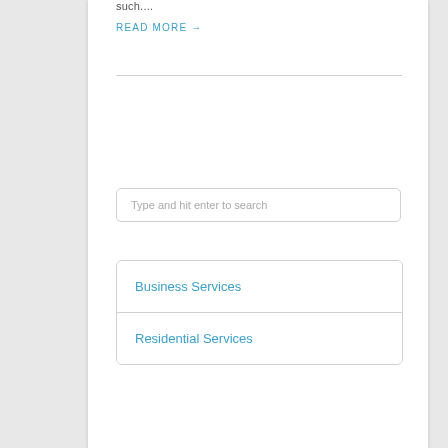such....
READ MORE →
Type and hit enter to search
Business Services
Residential Services